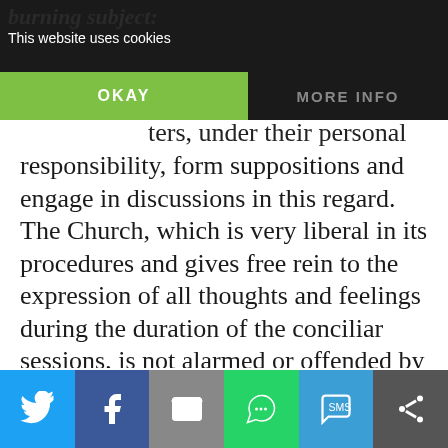burning subject:
This website uses cookies
OKAY
MORE INFO
ters, under their personal responsibility, form suppositions and engage in discussions in this regard. The Church, which is very liberal in its procedures and gives free rein to the expression of all thoughts and feelings during the duration of the conciliar sessions, is not alarmed or offended by these public debates when contained within just limits. As long as false liberalism does not claim a monopoly on freedom, as has happened before, and, in its habit of practical absolutism, it does not